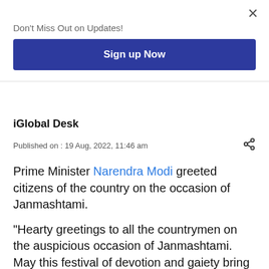Don't Miss Out on Updates!
Sign up Now
iGlobal Desk
Published on : 19 Aug, 2022, 11:46 am
Prime Minister Narendra Modi greeted citizens of the country on the occasion of Janmashtami.
"Hearty greetings to all the countrymen on the auspicious occasion of Janmashtami. May this festival of devotion and gaiety bring happiness, prosperity and good fortune to everyone's life. Long live Shri Krishna!." tweeted PM Modi today.